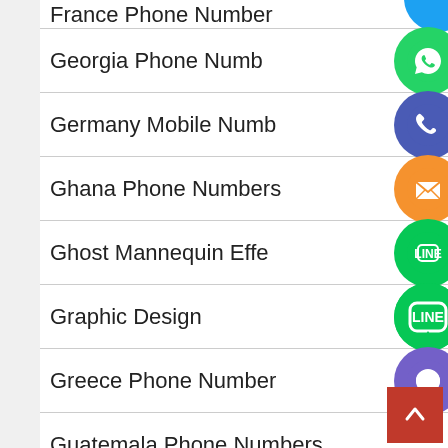France Phone Number
Georgia Phone Number
Germany Mobile Number
Ghana Phone Numbers
Ghost Mannequin Effect
Graphic Design
Greece Phone Numbers
Guatemala Phone Numbers
Honduras Cell Phone Numbers